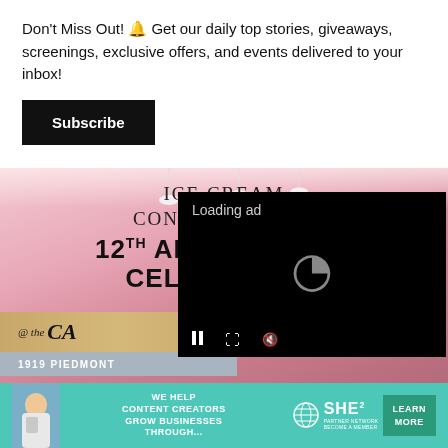Don't Miss Out! 🔔 Get our daily top stories, giveaways, screenings, exclusive offers, and events delivered to your inbox!
Subscribe
[Figure (infographic): Ice Cream Conversations 12th Anniversary Celebration event poster with pink/rose background, pendant lights, gold bar with '@the CA' branding, address bar '1919 PIEDMONT', and a black video player overlay showing 'Loading ad' with a spinner and video controls]
[Figure (infographic): SHE Partner Network advertisement banner on teal background with text 'We help content creators grow businesses through...' and a 'Learn More' button]